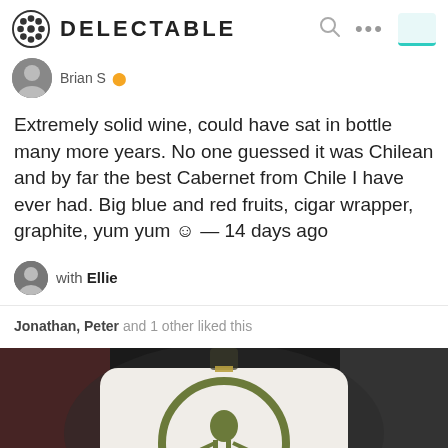DELECTABLE
Brian S
Extremely solid wine, could have sat in bottle many more years. No one guessed it was Chilean and by far the best Cabernet from Chile I have ever had. Big blue and red fruits, cigar wrapper, graphite, yum yum 😊 — 14 days ago
with Ellie
Jonathan, Peter and 1 other liked this
[Figure (photo): Close-up photo of a wine bottle label showing a circular logo with an olive/green ring and stylized figure, on a white label background, with blurred dark background]